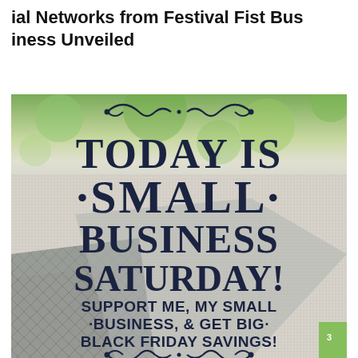ial Networks from Festival Fist Business Unveiled
[Figure (infographic): Small Business Saturday promotional image with decorative scrollwork ornaments on green and gray bokeh background. Large bold navy text reads: TODAY IS SMALL BUSINESS SATURDAY! SUPPORT ME, MY SMALL BUSINESS, & GET BIG BLACK FRIDAY SAVINGS! A quilted gray purse/bag is visible in the lower left. A small green element is visible in the lower right corner.]